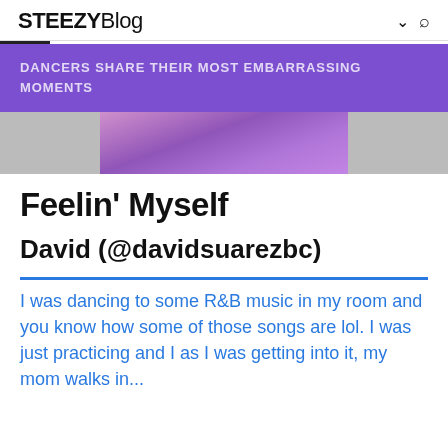STEEZYBlog
Dancers Share Their Most Embarrassing Moments
[Figure (photo): Partial photo of a woman in a purple dress, cropped at top]
Feelin' Myself
David (@davidsuarezbc)
I was dancing to some R&B music in my room and you know how some of those songs are lol. I was just practicing and I as I was getting into it, my mom walks in...